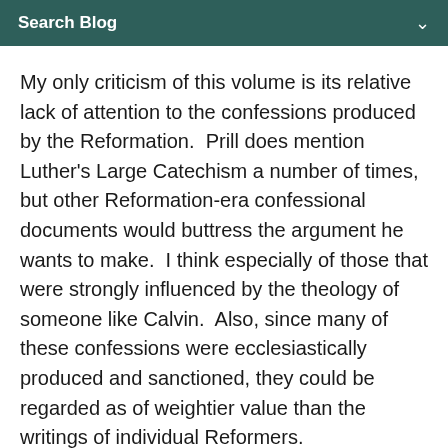Search Blog
My only criticism of this volume is its relative lack of attention to the confessions produced by the Reformation.  Prill does mention Luther's Large Catechism a number of times, but other Reformation-era confessional documents would buttress the argument he wants to make.  I think especially of those that were strongly influenced by the theology of someone like Calvin.  Also, since many of these confessions were ecclesiastically produced and sanctioned, they could be regarded as of weightier value than the writings of individual Reformers.
Prill's book is a valuable addition to the cause of